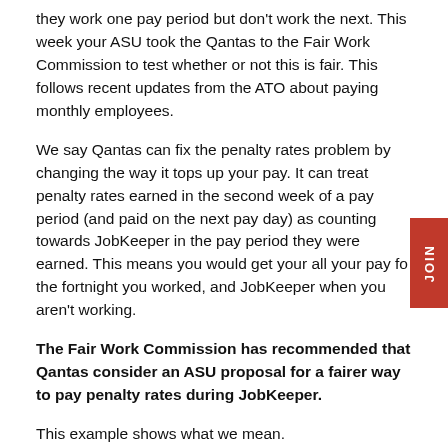they work one pay period but don't work the next. This week your ASU took the Qantas to the Fair Work Commission to test whether or not this is fair. This follows recent updates from the ATO about paying monthly employees.
We say Qantas can fix the penalty rates problem by changing the way it tops up your pay. It can treat penalty rates earned in the second week of a pay period (and paid on the next pay day) as counting towards JobKeeper in the pay period they were earned. This means you would get your all your pay for the fortnight you worked, and JobKeeper when you aren't working.
The Fair Work Commission has recommended that Qantas consider an ASU proposal for a fairer way to pay penalty rates during JobKeeper.
This example shows what we mean.
| Penalties |
| --- |